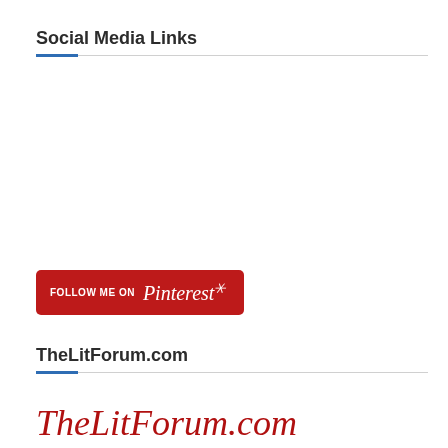Social Media Links
[Figure (other): Pinterest Follow Me button - red rounded rectangle button with text FOLLOW ME ON Pinterest]
TheLitForum.com
[Figure (logo): TheLitForum.com logo in red italic serif script font]